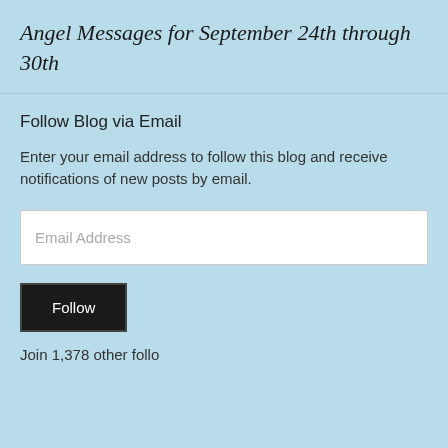Angel Messages for September 24th through 30th
Follow Blog via Email
Enter your email address to follow this blog and receive notifications of new posts by email.
Email Address
Follow
Join 1,378 other follo...